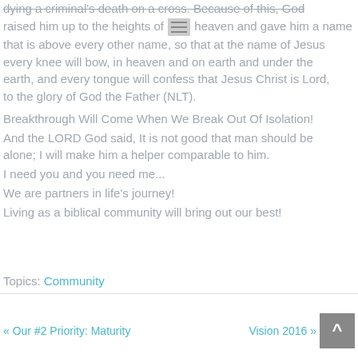dying a criminal's death on a cross. Because of this, God raised him up to the heights of heaven and gave him a name that is above every other name, so that at the name of Jesus every knee will bow, in heaven and on earth and under the earth, and every tongue will confess that Jesus Christ is Lord, to the glory of God the Father (NLT).
Breakthrough Will Come When We Break Out Of Isolation!
And the LORD God said, It is not good that man should be alone; I will make him a helper comparable to him.
I need you and you need me...
We are partners in life's journey!
Living as a biblical community will bring out our best!
Topics: Community
« Our #2 Priority: Maturity   Vision 2016 »